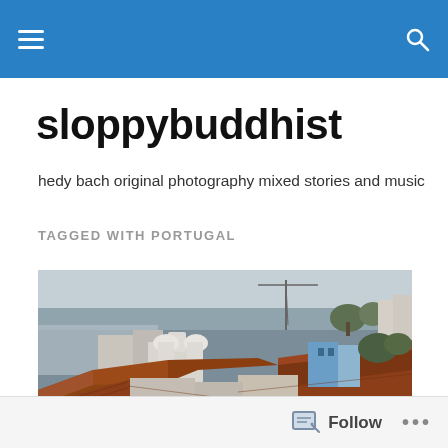sloppybuddhist navigation bar
sloppybuddhist
hedy bach original photography mixed stories and music
TAGGED WITH PORTUGAL
[Figure (photo): Aerial view of Lisbon, Portugal rooftops with terracotta-tiled buildings, a church, trees, and the Tagus river and a crane visible in the background under an overcast sky.]
Follow •••